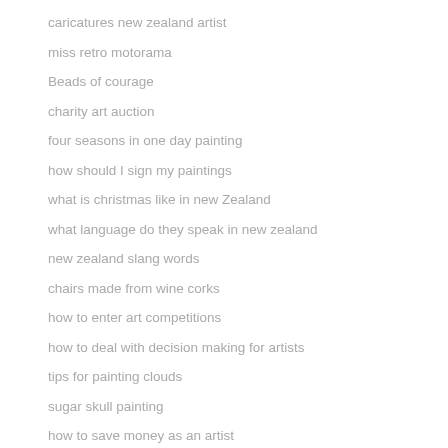caricatures new zealand artist
miss retro motorama
Beads of courage
charity art auction
four seasons in one day painting
how should I sign my paintings
what is christmas like in new Zealand
what language do they speak in new zealand
new zealand slang words
chairs made from wine corks
how to enter art competitions
how to deal with decision making for artists
tips for painting clouds
sugar skull painting
how to save money as an artist